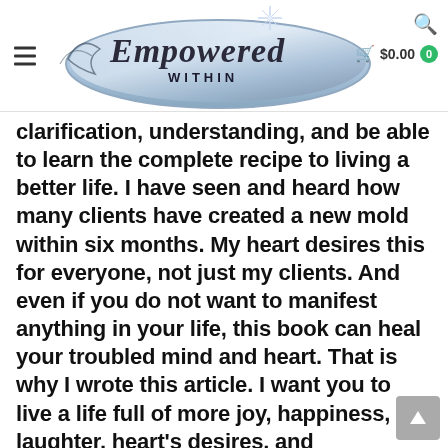Empowered Within — navigation header with logo, hamburger menu, search icon, and cart showing $0.00
clarification, understanding, and be able to learn the complete recipe to living a better life. I have seen and heard how many clients have created a new mold within six months. My heart desires this for everyone, not just my clients. And even if you do not want to manifest anything in your life, this book can heal your troubled mind and heart. That is why I wrote this article. I want you to live a life full of more joy, happiness, laughter, heart's desires, and contentment. Here is what some readers have to say.